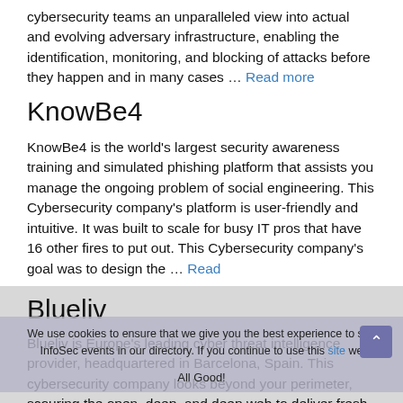cybersecurity teams an unparalleled view into actual and evolving adversary infrastructure, enabling the identification, monitoring, and blocking of attacks before they happen and in many cases … Read more
KnowBe4
KnowBe4 is the world's largest security awareness training and simulated phishing platform that assists you manage the ongoing problem of social engineering. This Cybersecurity company's platform is user-friendly and intuitive. It was built to scale for busy IT pros that have 16 other fires to put out. This Cybersecurity company's goal was to design the … Read more
Blueliv
Blueliv is Europe's leading cyber threat intelligence provider, headquartered in Barcelona, Spain. This cybersecurity company looks beyond your perimeter, scouring the open, deep, and deep web to deliver fresh, automated, and
We use cookies to ensure that we give you the best experience to see InfoSec events in our directory. If you continue to use this site we All Good!